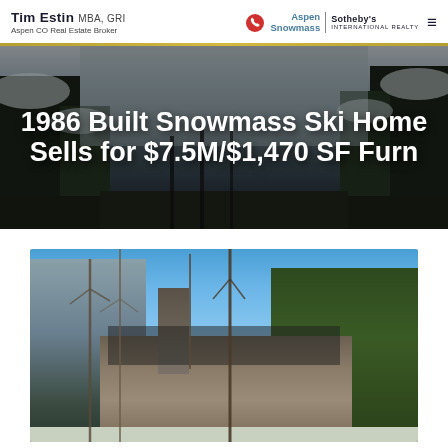Tim Estin MBA, GRI — Aspen CO Real Estate Broker | Aspen Snowmass Sotheby's International Realty
1986 Built Snowmass Ski Home Sells for $7.5M/$1,470 SF Furn
[Figure (photo): Exterior photo of a Snowmass ski home with stone chimney, bare aspen trees and evergreens in foreground, blue sky background]
[Figure (photo): Hero background: snow-covered winter mountain forest scene with dark silhouetted trees under overcast sky]